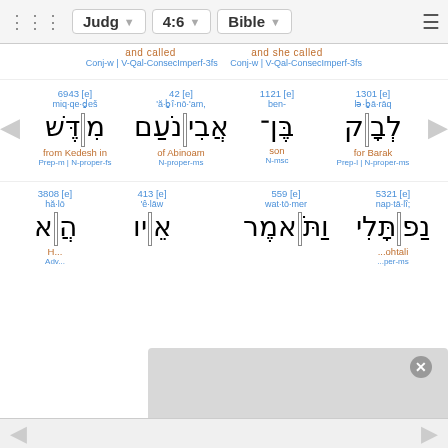Judg  4:6  Bible
Conj-w | V-Qal-ConsecImperf-3fs  Conj-w | V-Qal-ConsecImperf-3fs
6943 [e] miq·qe·deš  42 [e] 'ă·ḇî·nō·'am,  1121 [e] ben-  1301 [e] lə·ḇā·rāq
from Kedesh in  of Abinoam  son  for Barak
Prep-m | N-proper-fs  N-proper-ms  N-msc  Prep-l | N-proper-ms
3808 [e] hă·lō  413 [e] 'ê·lāw  559 [e] wat·tō·mer  5321 [e] nap·tā·lî;
H...  Adv...  ohtali  ...per-ms